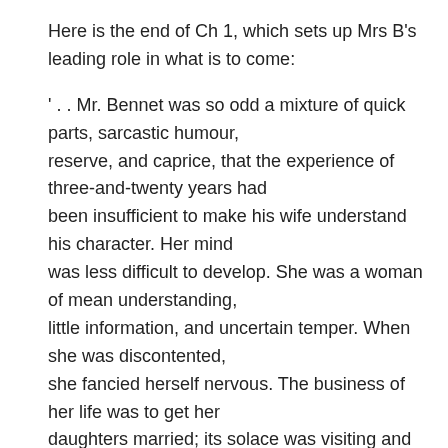Here is the end of Ch 1, which sets up Mrs B's leading role in what is to come:
' . . Mr. Bennet was so odd a mixture of quick parts, sarcastic humour, reserve, and caprice, that the experience of three-and-twenty years had been insufficient to make his wife understand his character. Her mind was less difficult to develop. She was a woman of mean understanding, little information, and uncertain temper. When she was discontented, she fancied herself nervous. The business of her life was to get her daughters married; its solace was visiting and